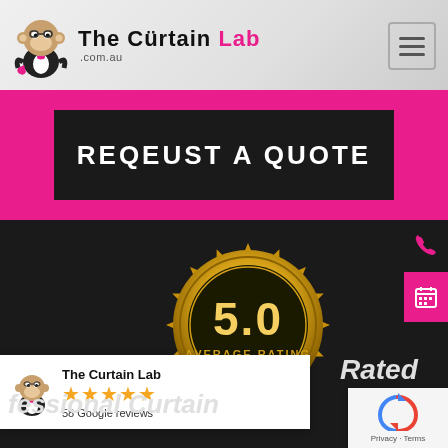[Figure (logo): The Curtain Lab logo with monkey mascot and text 'The Curtain Lab .com.au' in pink and black on grey background]
REQEUST A QUOTE
[Figure (illustration): Gold badge with '5.0 AVERAGE RATING' text and stars on dark background]
[Figure (infographic): Google review card: The Curtain Lab, 5 gold stars, 58 Google reviews]
Rated
Professional Curtain